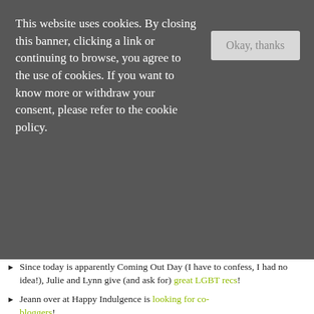This website uses cookies. By closing this banner, clicking a link or continuing to browse, you agree to the use of cookies. If you want to know more or withdraw your consent, please refer to the cookie policy.
Since today is apparently Coming Out Day (I have to confess, I had no idea!), Julie and Lynn give (and ask for) great LGBT recs!
Jeann over at Happy Indulgence is looking for co-bloggers!
Kim over at Divergent Gryffindor shares her amazing bookish calligraphy (I'm so jealous of her talent!)
Laura over at Boats Against the Current gives great advice in her post: The Disorganised Blogger's Guide to Blogging
Check out Emerald City Book Review's Fairy Tale Reading Readathon